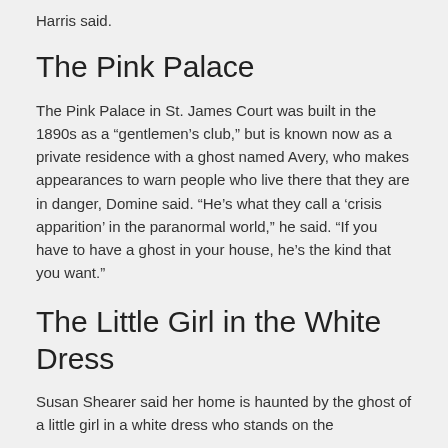Harris said.
The Pink Palace
The Pink Palace in St. James Court was built in the 1890s as a “gentlemen’s club,” but is known now as a private residence with a ghost named Avery, who makes appearances to warn people who live there that they are in danger, Domine said. “He’s what they call a ‘crisis apparition’ in the paranormal world,” he said. “If you have to have a ghost in your house, he’s the kind that you want.”
The Little Girl in the White Dress
Susan Shearer said her home is haunted by the ghost of a little girl in a white dress who stands on the